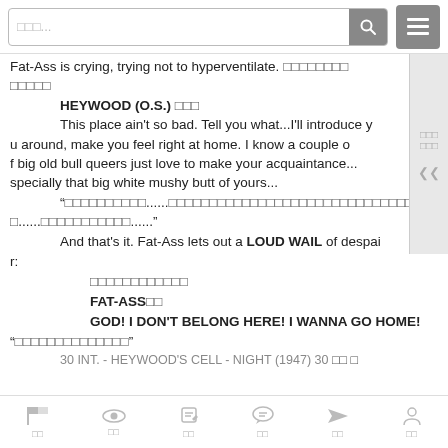Search bar and menu button UI
Fat-Ass is crying, trying not to hyperventilate. [CJK characters]
HEYWOOD (O.S.) [CJK]
This place ain't so bad. Tell you what...I'll introduce you around, make you feel right at home. I know a couple of big old bull queers just love to make your acquaintance...specially that big white mushy butt of yours...
“[CJK characters]......”
And that's it. Fat-Ass lets out a LOUD WAIL of despair:
[CJK characters]
FAT-ASS[CJK]
GOD! I DON'T BELONG HERE! I WANNA GO HOME!
“[CJK characters]”
30 INT. - HEYWOOD'S CELL - NIGHT (1947) 30 [CJK]
Toolbar icons: flag, view, edit, comment, send, user